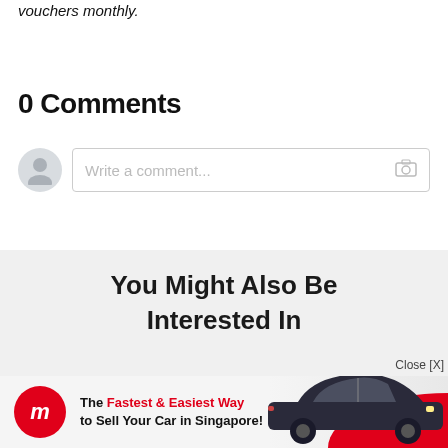vouchers monthly.
0 Comments
[Figure (screenshot): Comment input box with user avatar placeholder on the left and a text field saying 'Write a comment...' with a camera icon on the right]
You Might Also Be Interested In
[Figure (infographic): Advertisement banner for Motorist Singapore: logo 'm' in red circle, text 'The Fastest & Easiest Way to Sell Your Car in Singapore!', image of a dark hatchback car with a red curve element, and a 'Close [X]' button]